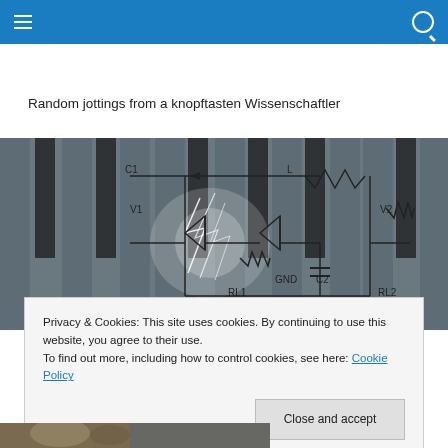[hamburger menu icon] [search icon] — navigation bar
Random jottings from a knopftasten Wissenschaftler
[Figure (circuit-diagram): Electronic circuit diagram overlaid on a keyboard photo with lightning effects. Shows components labeled C1, L (inductor), V1, V2, GND, RL1, C2, RL2 forming an amplifier or filter circuit.]
Privacy & Cookies: This site uses cookies. By continuing to use this website, you agree to their use.
To find out more, including how to control cookies, see here: Cookie Policy
Close and accept
[Figure (photo): Partial view of an animal (appears to be a meerkat or similar) photo strip at the bottom of the page.]